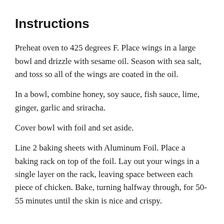Instructions
Preheat oven to 425 degrees F. Place wings in a large bowl and drizzle with sesame oil. Season with sea salt, and toss so all of the wings are coated in the oil.
In a bowl, combine honey, soy sauce, fish sauce, lime, ginger, garlic and sriracha.
Cover bowl with foil and set aside.
Line 2 baking sheets with Aluminum Foil. Place a baking rack on top of the foil. Lay out your wings in a single layer on the rack, leaving space between each piece of chicken. Bake, turning halfway through, for 50-55 minutes until the skin is nice and crispy.